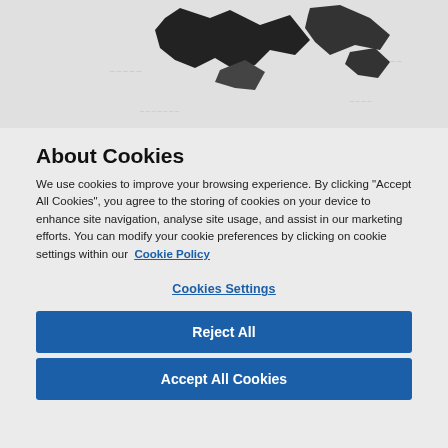[Figure (illustration): Partial view of a black and white map/geographic shape on a light grey background at the top of the page]
About Cookies
We use cookies to improve your browsing experience. By clicking “Accept All Cookies”, you agree to the storing of cookies on your device to enhance site navigation, analyse site usage, and assist in our marketing efforts. You can modify your cookie preferences by clicking on cookie settings within our Cookie Policy
Cookies Settings
Reject All
Accept All Cookies